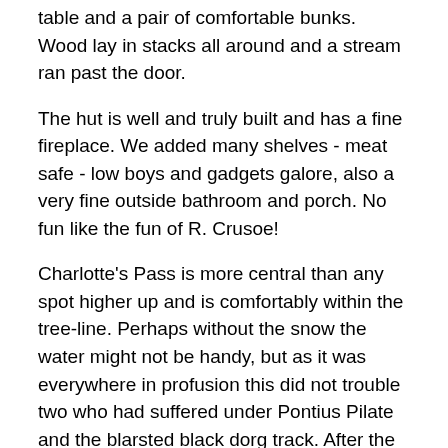table and a pair of comfortable bunks. Wood lay in stacks all around and a stream ran past the door.
The hut is well and truly built and has a fine fireplace. We added many shelves - meat safe - low boys and gadgets galore, also a very fine outside bathroom and porch. No fun like the fun of R. Crusoe!
Charlotte's Pass is more central than any spot higher up and is comfortably within the tree-line. Perhaps without the snow the water might not be handy, but as it was everywhere in profusion this did not trouble two who had suffered under Pontius Pilate and the blarsted black dorg track. After the walking and paddling of the day 'twas nice to come back to the well-appointed hut and concoct large and tasty meals. We generally dined at five, and thus had three to four hours of daylight to trifle with.
Many happy nights were spent with the company of the clean-flamed snow-gums - the rafters ringing with the